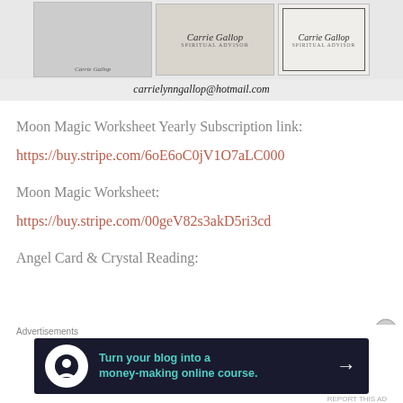[Figure (photo): Screenshot of Carrie Gallop Spiritual Advisor promotional material and business card images, with email carrielynngallop@hotmail.com at the bottom]
Moon Magic Worksheet Yearly Subscription link:
https://buy.stripe.com/6oE6oC0jV1O7aLC000
Moon Magic Worksheet:
https://buy.stripe.com/00geV82s3akD5ri3cd
Angel Card & Crystal Reading:
[Figure (infographic): Advertisement banner: Turn your blog into a money-making online course.]